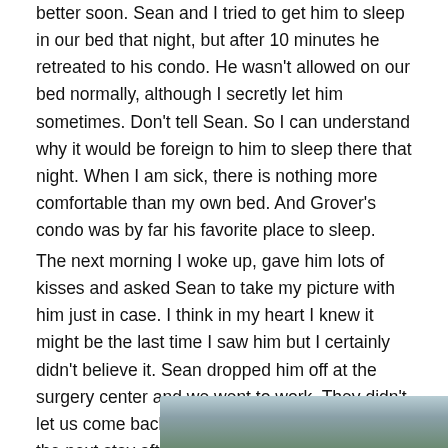better soon. Sean and I tried to get him to sleep in our bed that night, but after 10 minutes he retreated to his condo. He wasn't allowed on our bed normally, although I secretly let him sometimes. Don't tell Sean. So I can understand why it would be foreign to him to sleep there that night. When I am sick, there is nothing more comfortable than my own bed. And Grover's condo was by far his favorite place to sleep.
The next morning I woke up, gave him lots of kisses and asked Sean to take my picture with him just in case. I think in my heart I knew it might be the last time I saw him but I certainly didn't believe it. Sean dropped him off at the surgery center and we went to work. They didn't let us come back so I figured we'd pick him up the next stay after a night in the hospital.
[Figure (photo): Partial photo visible at bottom of page, appearing to show a pet or animal, cropped with only the top portion visible.]